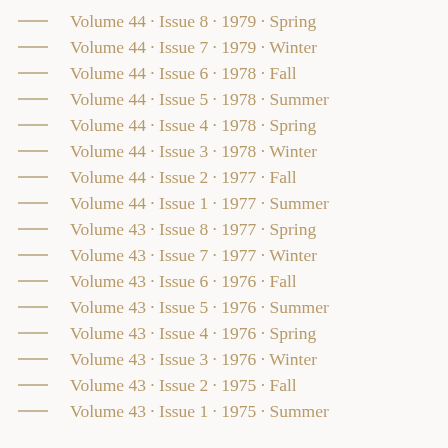Volume 44 · Issue 8 · 1979 · Spring
Volume 44 · Issue 7 · 1979 · Winter
Volume 44 · Issue 6 · 1978 · Fall
Volume 44 · Issue 5 · 1978 · Summer
Volume 44 · Issue 4 · 1978 · Spring
Volume 44 · Issue 3 · 1978 · Winter
Volume 44 · Issue 2 · 1977 · Fall
Volume 44 · Issue 1 · 1977 · Summer
Volume 43 · Issue 8 · 1977 · Spring
Volume 43 · Issue 7 · 1977 · Winter
Volume 43 · Issue 6 · 1976 · Fall
Volume 43 · Issue 5 · 1976 · Summer
Volume 43 · Issue 4 · 1976 · Spring
Volume 43 · Issue 3 · 1976 · Winter
Volume 43 · Issue 2 · 1975 · Fall
Volume 43 · Issue 1 · 1975 · Summer